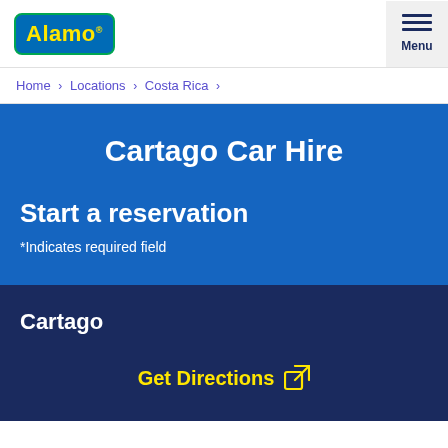Alamo Menu
Home › Locations › Costa Rica ›
Cartago Car Hire
Start a reservation
*Indicates required field
Cartago
Get Directions